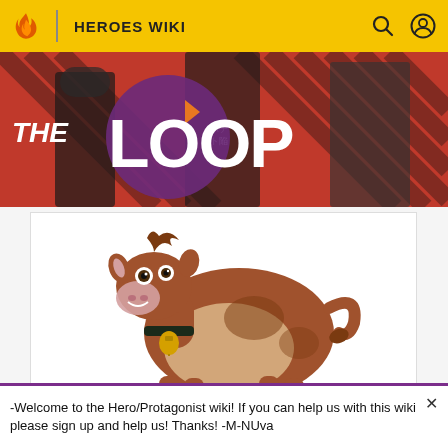HEROES WIKI
[Figure (illustration): Banner image showing 'THE LOOP' text with video game characters on a red/pink striped background]
[Figure (illustration): Animated cartoon cow character - brown and beige cow with a bell collar, standing and looking forward with a friendly expression]
-Welcome to the Hero/Protagonist wiki! If you can help us with this wiki please sign up and help us! Thanks! -M-NUva